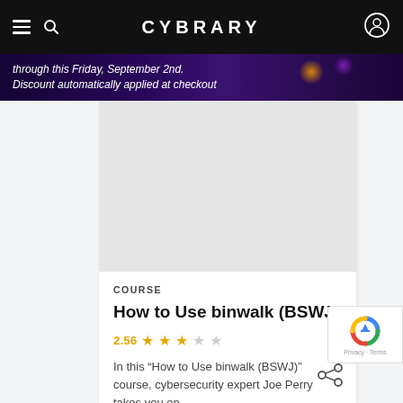CYBRARY
through this Friday, September 2nd. Discount automatically applied at checkout
COURSE
How to Use binwalk (BSWJ)
2.56 (2.56 stars out of 5)
In this “How to Use binwalk (BSWJ)” course, cybersecurity expert Joe Perry takes you on ...